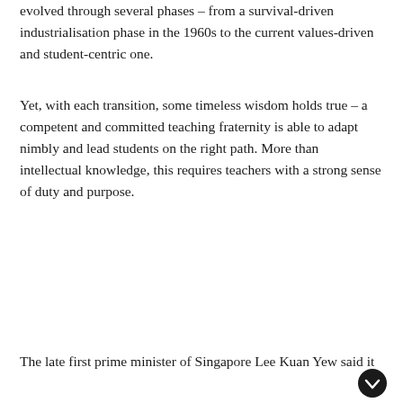evolved through several phases – from a survival-driven industrialisation phase in the 1960s to the current values-driven and student-centric one.
Yet, with each transition, some timeless wisdom holds true – a competent and committed teaching fraternity is able to adapt nimbly and lead students on the right path. More than intellectual knowledge, this requires teachers with a strong sense of duty and purpose.
The late first prime minister of Singapore Lee Kuan Yew said it